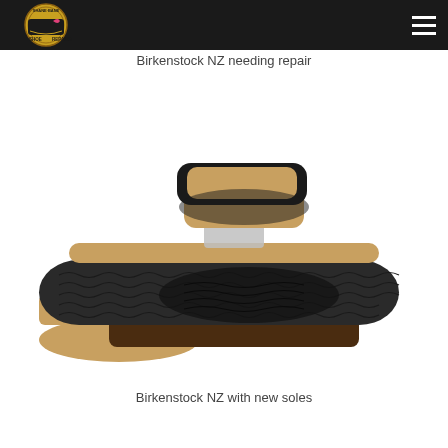Shane-Bane Shoe Repairs logo and navigation
Birkenstock NZ needing repair
[Figure (photo): Bottom view of a worn Birkenstock sandal showing a black rubber sole with wavy tread pattern, exposed cork midsole, and a tan/cork strap area, placed on a white background]
Birkenstock NZ with new soles